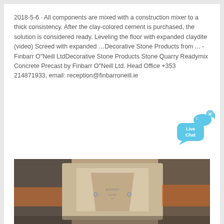2018-5-6 · All components are mixed with a construction mixer to a thick consistency. After the clay-colored cement is purchased, the solution is considered ready. Leveling the floor with expanded claydite (video) Screed with expanded …Decorative Stone Products from ... - Finbarr O"Neill LtdDecorative Stone Products Stone Quarry Readymix Concrete Precast by Finbarr O"Neill Ltd. Head Office +353 214871933, email: reception@finbarroneill.ie
[Figure (other): Live Chat widget bubble with fish icon and close button]
[Figure (photo): Close-up photo of hands holding a concrete or stone precast product with stamped markings, showing textured surface detail]